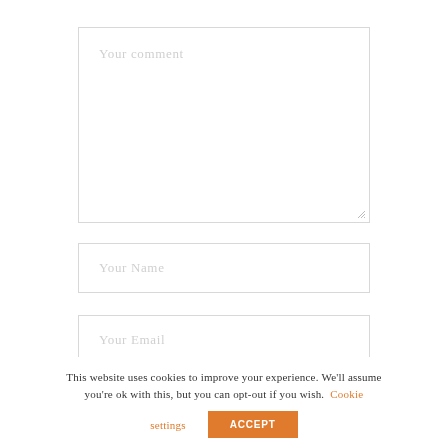[Figure (screenshot): Comment form textarea with placeholder text 'Your comment']
[Figure (screenshot): Name input field with placeholder text 'Your Name']
[Figure (screenshot): Email input field with placeholder text 'Your Email']
This website uses cookies to improve your experience. We'll assume you're ok with this, but you can opt-out if you wish. Cookie settings ACCEPT